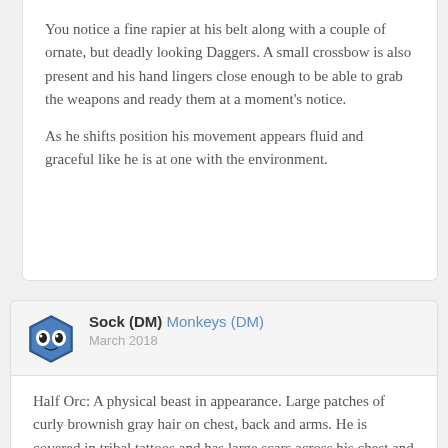You notice a fine rapier at his belt along with a couple of ornate, but deadly looking Daggers. A small crossbow is also present and his hand lingers close enough to be able to grab the weapons and ready them at a moment's notice.
As he shifts position his movement appears fluid and graceful like he is at one with the environment.
Sock (DM) Monkeys (DM)
March 2018
Half Orc: A physical beast in appearance. Large patches of curly brownish gray hair on chest, back and arms. He is covered in tribal tattoos and has large scars across his chest and forearms. He wears bear skin clothes with bracelets and necklaces made of various animal teeth.